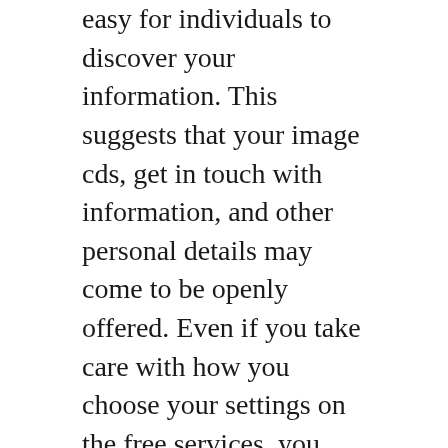easy for individuals to discover your information. This suggests that your image cds, get in touch with information, and other personal details may come to be openly offered. Even if you take care with how you choose your settings on the free services, you need to still make sure that your the real world information is maintained confidential. If this is not done, then the info could end up on websites where it can be made use of versus you. Click Here For More
You ought to also make use of a paid online dating application that just permits you to enter your details as soon as. By doing this, you are making it a lot harder for people to try to steal or find out the same as information